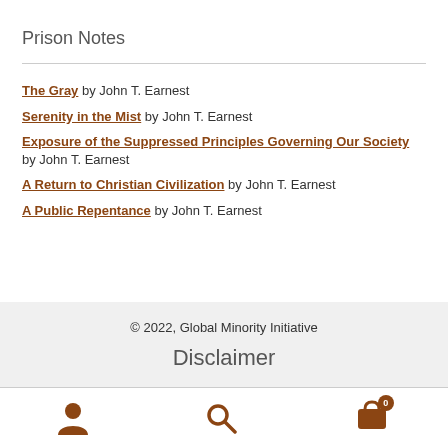Prison Notes
The Gray by John T. Earnest
Serenity in the Mist by John T. Earnest
Exposure of the Suppressed Principles Governing Our Society by John T. Earnest
A Return to Christian Civilization by John T. Earnest
A Public Repentance by John T. Earnest
© 2022, Global Minority Initiative
Disclaimer